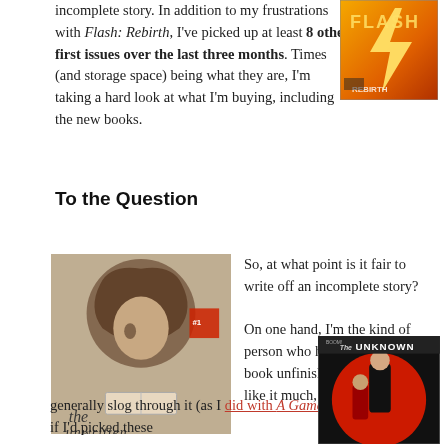incomplete story. In addition to my frustrations with Flash: Rebirth, I've picked up at least 8 other first issues over the last three months. Times (and storage space) being what they are, I'm taking a hard look at what I'm buying, including the new books.
[Figure (photo): Cover of Flash: Rebirth comic book with bold yellow/orange lightning design]
To the Question
[Figure (photo): Cover of The Unwritten comic book featuring a stylized figure with swirling hair]
So, at what point is it fair to write off an incomplete story?

On one hand, I'm the kind of person who hates to leave a book unfinished. Even if I don't like it much, I'll generally slog through it (as I did with A Game of Thrones). So if I'd picked these
[Figure (photo): Cover of The Unknown comic book with red circle background and two figures]